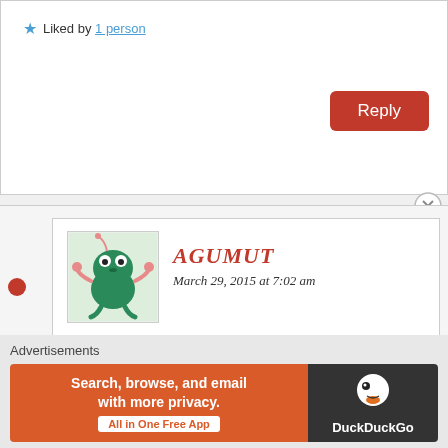★ Liked by 1 person
Reply
AGUMUT
March 29, 2015 at 7:02 am
Kapoeta are criminals and Thieves. and that have no explanation.
★ Like
Reply
Advertisements
[Figure (screenshot): DuckDuckGo advertisement banner: orange background with text 'Search, browse, and email with more privacy. All in One Free App' and DuckDuckGo logo on dark right panel]